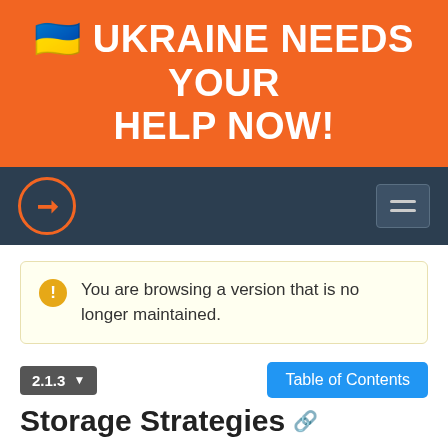[Figure (screenshot): Orange banner with Ukrainian flag emoji and text: UKRAINE NEEDS YOUR HELP NOW!]
Navigation bar with Doctrine ODM logo and hamburger menu
You are browsing a version that is no longer maintained.
2.1.3 ▾   Table of Contents
Storage Strategies
Doctrine MongoDB ODM implements several different strategies for persisting changes to mapped fields. These strategies apply to the following mapping types: